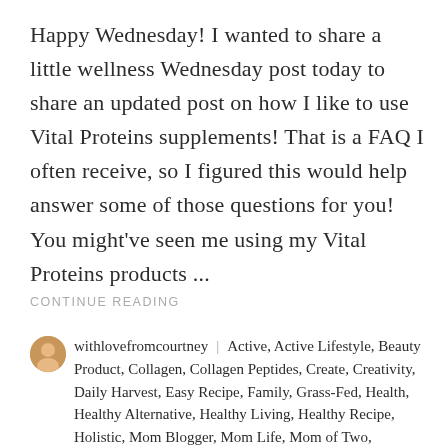Happy Wednesday! I wanted to share a little wellness Wednesday post today to share an updated post on how I like to use Vital Proteins supplements! That is a FAQ I often receive, so I figured this would help answer some of those questions for you! You might've seen me using my Vital Proteins products ...
CONTINUE READING
withlovefromcourtney | Active, Active Lifestyle, Beauty Product, Collagen, Collagen Peptides, Create, Creativity, Daily Harvest, Easy Recipe, Family, Grass-Fed, Health, Healthy Alternative, Healthy Living, Healthy Recipe, Holistic, Mom Blogger, Mom Life, Mom of Two, Motherhood, Natural Recipe, Organic, Paleo, Personal